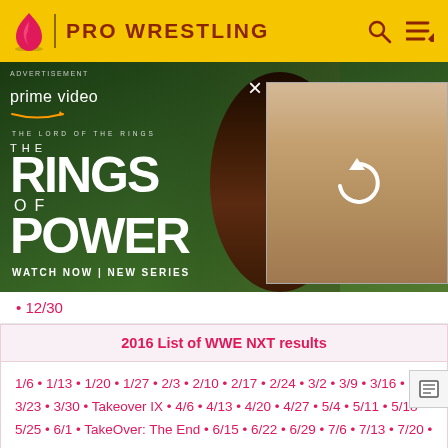PRO WRESTLING
[Figure (screenshot): Amazon Prime Video advertisement for 'The Lord of the Rings: The Rings of Power' showing two characters from the show with text 'WATCH NOW | NEW SERIES']
12/30
2016 List of WWE NXT results
1/6 • 1/13 • 1/20 • 1/27 • 2/3 • 2/10 • 2/17 • 2/24 • 3/2 • 3/9 • 3/16 • 3/23 • 3/30 • Takeover IX • 4/6 • 4/13 • 4/20 • 4/27 • 5/4 • 5/11 • 5/18 • 5/25 • 6/1 • TakeOver: The End • 6/15 • 6/22 • 6/29 • 7/6 • 7/13 • 7/20 • 7/27 • 8/3 • 8/10 • 8/17 • Back to Brooklyn • 8/24 • 8/31 • 9/7 • 9/14 • 9/21 • 9/28 • 10/5 • 10/12 • 10/19 • 10/26 • 11/2 • 11/9 • 11/16 • TakeOver: Toronto • 11/23 • 11/30 • 12/7 • 12/14 • 12/21 • 12/28